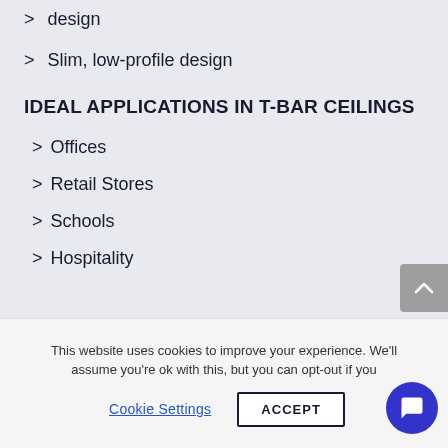> design
> Slim, low-profile design
IDEAL APPLICATIONS IN T-BAR CEILINGS
> Offices
> Retail Stores
> Schools
> Hospitality
This website uses cookies to improve your experience. We'll assume you're ok with this, but you can opt-out if you